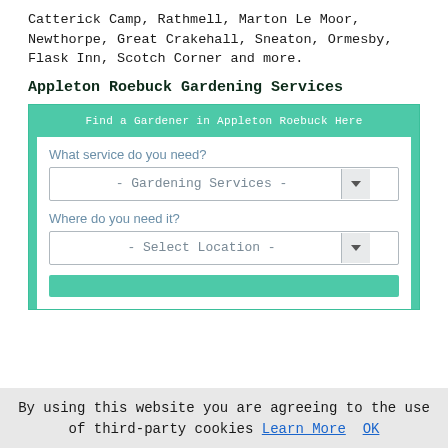Catterick Camp, Rathmell, Marton Le Moor, Newthorpe, Great Crakehall, Sneaton, Ormesby, Flask Inn, Scotch Corner and more.
Appleton Roebuck Gardening Services
[Figure (screenshot): A web widget form with a teal/green header reading 'Find a Gardener in Appleton Roebuck Here', containing two dropdown fields: 'What service do you need?' pre-filled with '- Gardening Services -' and 'Where do you need it?' pre-filled with '- Select Location -', plus a partially visible teal submit button at the bottom.]
By using this website you are agreeing to the use of third-party cookies Learn More OK